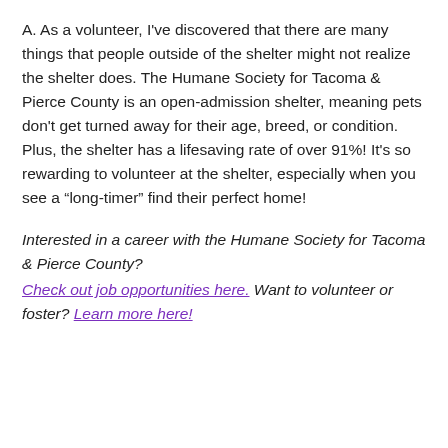A. As a volunteer, I've discovered that there are many things that people outside of the shelter might not realize the shelter does. The Humane Society for Tacoma & Pierce County is an open-admission shelter, meaning pets don't get turned away for their age, breed, or condition. Plus, the shelter has a lifesaving rate of over 91%! It's so rewarding to volunteer at the shelter, especially when you see a “long-timer” find their perfect home!
Interested in a career with the Humane Society for Tacoma & Pierce County? Check out job opportunities here. Want to volunteer or foster? Learn more here!